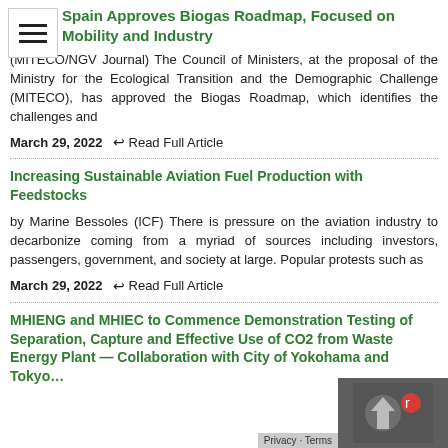Spain Approves Biogas Roadmap, Focused on Mobility and Industry
(MITECO/NGV Journal) The Council of Ministers, at the proposal of the Ministry for the Ecological Transition and the Demographic Challenge (MITECO), has approved the Biogas Roadmap, which identifies the challenges and
March 29, 2022   ↩ Read Full Article
Increasing Sustainable Aviation Fuel Production with Feedstocks
by Marine Bessoles (ICF) There is pressure on the aviation industry to decarbonize coming from a myriad of sources including investors, passengers, government, and society at large. Popular protests such as
March 29, 2022   ↩ Read Full Article
MHIENG and MHIEC to Commence Demonstration Testing of Separation, Capture and Effective Use of CO2 from Waste Energy Plant — Collaboration with City of Yokohama and Tokyo…